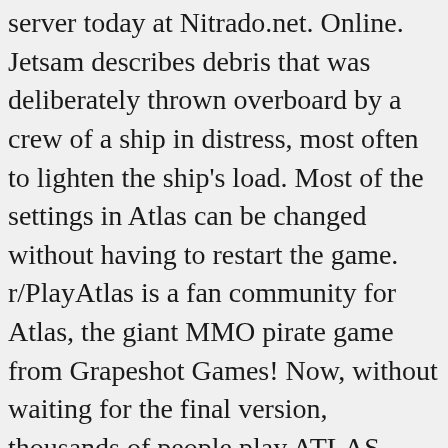server today at Nitrado.net. Online. Jetsam describes debris that was deliberately thrown overboard by a crew of a ship in distress, most often to lighten the ship's load. Most of the settings in Atlas can be changed without having to restart the game. r/PlayAtlas is a fan community for Atlas, the giant MMO pirate game from Grapeshot Games! Now, without waiting for the final version, thousands of people play ATLAS, because the game is playable and very addictive. Redmantis 0 Redmantis 0 Gamer; Members; Reputation: 0 Posts: 11; Report post; Posted January 7, 2019. They appear as rotting wooden crates covered with barnacles and seaweed, and have an eerie glow about them. For more information, see the ATLAS Wiki. It can be your own video or a video by someone else. We'll be working on regular patches in Early Access until we feel the game is ready to ship. If you are not excited to play this game in its current state, then you should wait to see if the game... We sail around, carefully